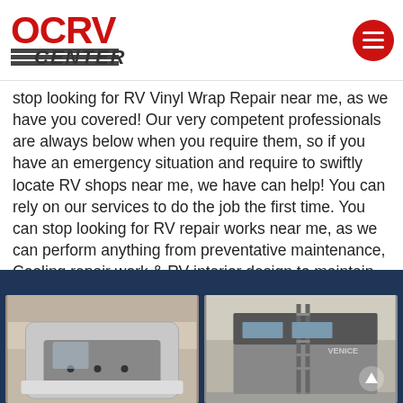[Figure (logo): OCRV Center logo with red stylized letters and dark horizontal lines with CENTER text]
stop looking for RV Vinyl Wrap Repair near me, as we have you covered! Our very competent professionals are always below when you require them, so if you have an emergency situation and require to swiftly locate RV shops near me, we have can help! You can rely on our services to do the job the first time. You can stop looking for RV repair works near me, as we can perform anything from preventative maintenance, Cooling repair work & RV interior design to maintain your RV competing years ahead.
[Figure (photo): Two photos of RVs in a repair shop/garage setting on a dark blue background]